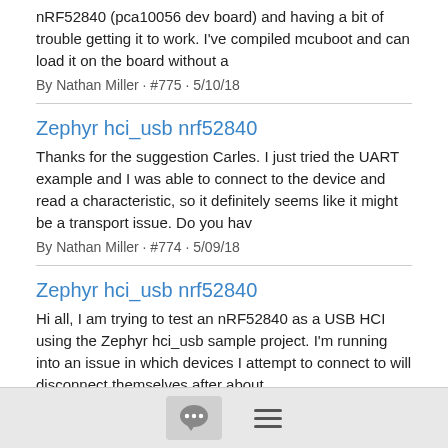nRF52840 (pca10056 dev board) and having a bit of trouble getting it to work. I've compiled mcuboot and can load it on the board without a
By Nathan Miller · #775 · 5/10/18
Zephyr hci_usb nrf52840
Thanks for the suggestion Carles. I just tried the UART example and I was able to connect to the device and read a characteristic, so it definitely seems like it might be a transport issue. Do you hav
By Nathan Miller · #774 · 5/09/18
Zephyr hci_usb nrf52840
Hi all, I am trying to test an nRF52840 as a USB HCI using the Zephyr hci_usb sample project. I'm running into an issue in which devices I attempt to connect to will disconnect themselves after about
By Nathan Miller · #756 · 5/01/18
[Figure (other): Footer bar with chat bubble icon button and hamburger menu icon]